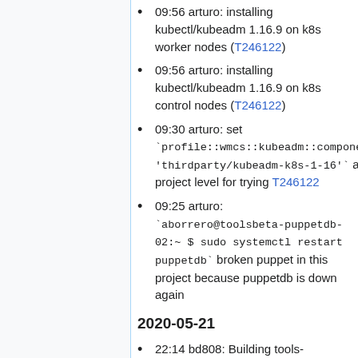09:56 arturo: installing kubectl/kubeadm 1.16.9 on k8s worker nodes (T246122)
09:56 arturo: installing kubectl/kubeadm 1.16.9 on k8s control nodes (T246122)
09:30 arturo: set `profile::wmcs::kubeadm::component: 'thirdparty/kubeadm-k8s-1-16'` at project level for trying T246122
09:25 arturo: `aborrero@toolsbeta-puppetdb-02:~ $ sudo systemctl restart puppetdb` broken puppet in this project because puppetdb is down again
2020-05-21
22:14 bd808: Building tools-webservice 0.70 via wmcs-package-build.py